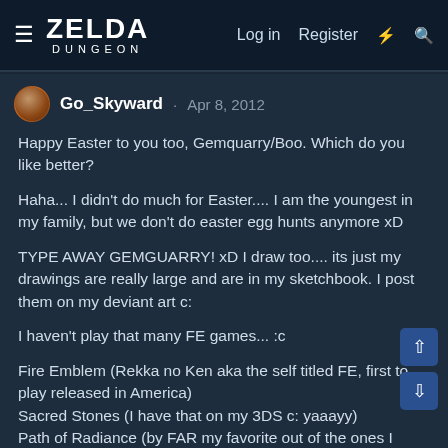ZELDA DUNGEON | Log in | Register
Go_Skyward · Apr 8, 2012
Happy Easter to you too, Gemquarry/Boo. Which do you like better?

Haha... I didn't do much for Easter.... I am the youngest in my family, but we don't do easter egg hunts anymore xD

TYPE AWAY GEMGUARRY! xD I draw too.... its just my drawings are really large and are in my sketchbook. I post them on my deviant art c:

I haven't play that many FE games... :c

Fire Emblem (Rekka no Ken aka the self titled FE, first to play released in America)
Sacred Stones (I have that on my 3DS c: yaaayy)
Path of Radiance (by FAR my favorite out of the ones I have played)